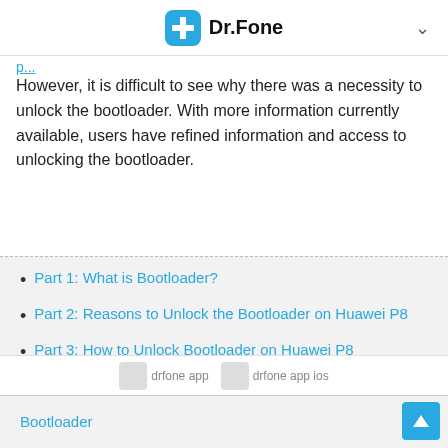Dr.Fone
However, it is difficult to see why there was a necessity to unlock the bootloader. With more information currently available, users have refined information and access to unlocking the bootloader.
Part 1: What is Bootloader?
Part 2: Reasons to Unlock the Bootloader on Huawei P8
Part 3: How to Unlock Bootloader on Huawei P8
[Figure (logo): drfone app android badge]
[Figure (logo): drfone app ios badge]
Bootloader